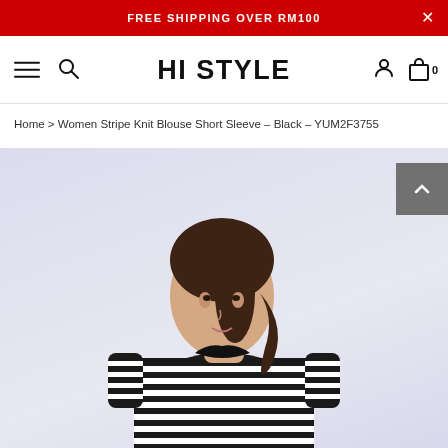FREE SHIPPING OVER RM100
[Figure (screenshot): HI STYLE e-commerce website navigation bar with hamburger menu, search icon, logo 'HI STYLE', user account icon, and cart icon with count 0]
Home > Women Stripe Knit Blouse Short Sleeve - Black - YUM2F3755
[Figure (photo): A female model wearing a black and white horizontal stripe knit blouse with short sleeves, shown from waist up against a light lavender/purple background. Model has dark hair pulled back.]